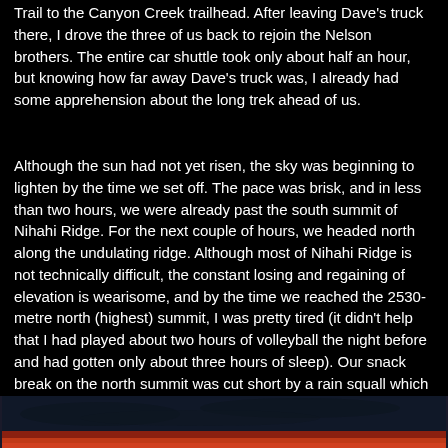Trail to the Canyon Creek trailhead.  After leaving Dave's truck there, I drove the three of us back to rejoin the Nelson brothers.  The entire car shuttle took only about half an hour, but knowing how far away Dave's truck was, I already had some apprehension about the long trek ahead of us.
Although the sun had not yet risen, the sky was beginning to lighten by the time we set off.  The pace was brisk, and in less than two hours, we were already past the south summit of Nihahi Ridge.  For the next couple of hours, we headed north along the undulating ridge.  Although most of Nihahi Ridge is not technically difficult, the constant losing and regaining of elevation is wearisome, and by the time we reached the 2530-metre north (highest) summit, I was pretty tired (it didn't help that I had played about two hours of volleyball the night before and had gotten only about three hours of sleep).  Our snack break on the north summit was cut short by a rain squall which forced us to get moving to stay warm and caused me to reconsider the merits of continuing on to Compression Ridge.  Fortunately, the skies cleared by the time we bottomed out at the col separating the two ridges, and I was again keen on completing the traverse.
[Figure (photo): Partial photo visible at bottom of page, dark blue sky with reddish-orange colors near horizon, appears to be a landscape or mountain scene at dawn or dusk.]